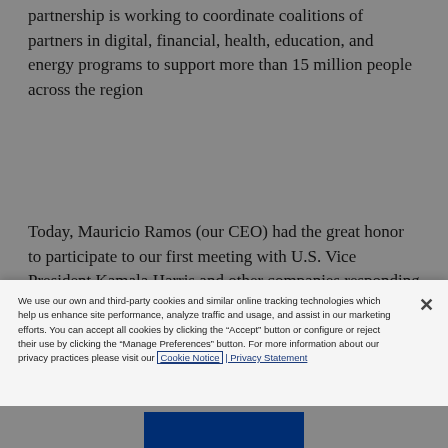partnership is working to coordinate coalitions of partners in digital, financial, health, education, and energy programs to support more than 15 million people across the region
Today, Mauricio Ramos (our CEO) had the great honor to participate to our first meeting with U.S. Vice President Kamala Harris and other companies responding to the Call to Action. As a member of the PCA, and as part of our ongoing commitment to the region, we announced that we will invest $700 million to expand and maintain our
We use our own and third-party cookies and similar online tracking technologies which help us enhance site performance, analyze traffic and usage, and assist in our marketing efforts. You can accept all cookies by clicking the "Accept" button or configure or reject their use by clicking the "Manage Preferences" button. For more information about our privacy practices please visit our Cookie Notice | Privacy Statement